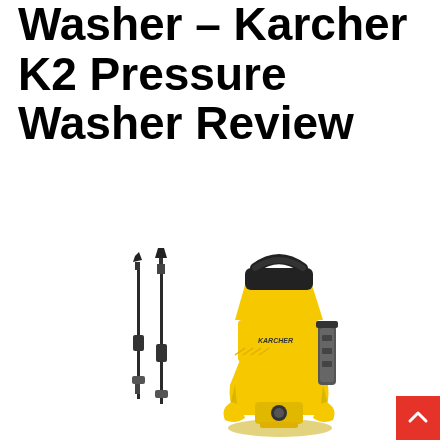Washer – Karcher K2 Pressure Washer Review
[Figure (photo): Karcher K2 pressure washer unit in yellow and black color, shown with two wand/lance attachments on the left side and the main unit body on the right, including hose attachment port and handle.]